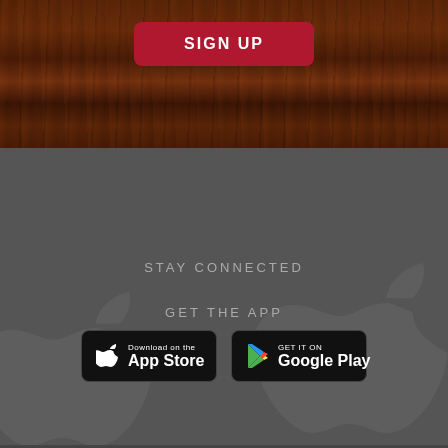[Figure (screenshot): Wood texture background section with dark brown grain pattern]
[Figure (illustration): Red rounded rectangle button with bold white uppercase text reading SIGN UP]
[Figure (illustration): Dark gray background section with faint Apple logo watermarks]
STAY CONNECTED
GET THE APP
[Figure (illustration): Download on the App Store button - black rounded rectangle with Apple logo icon]
[Figure (illustration): GET IT ON Google Play button - black rounded rectangle with Google Play triangle logo]